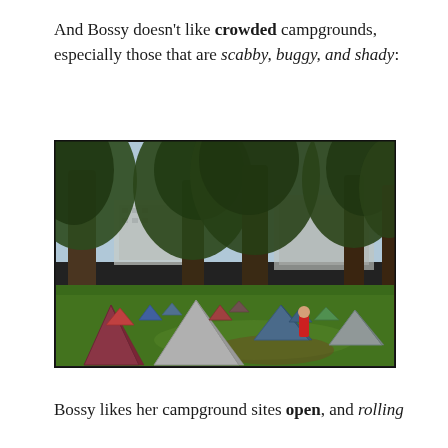And Bossy doesn't like crowded campgrounds, especially those that are scabby, buggy, and shady:
[Figure (photo): A crowded campground with many colorful tents packed closely together on green grass under large trees, with buildings visible in the background.]
Bossy likes her campground sites open, and rolling